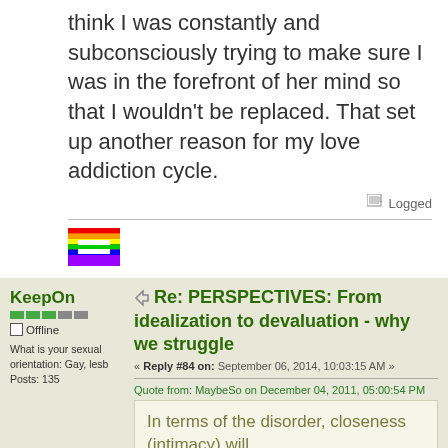think I was constantly and subconsciously trying to make sure I was in the forefront of her mind so that I wouldn't be replaced. That set up another reason for my love addiction cycle.
Logged
[Figure (logo): Rainbow equality logo - horizontal stripes in rainbow colors with two white horizontal bars forming an equals sign]
KeepOn
Offline
What is your sexual orientation: Gay, lesb
Posts: 135
Re: PERSPECTIVES: From idealization to devaluation - why we struggle
« Reply #84 on: September 06, 2014, 10:03:15 AM »
Quote from: MaybeSo on December 04, 2011, 05:00:54 PM
In terms of the disorder, closeness (intimacy) will